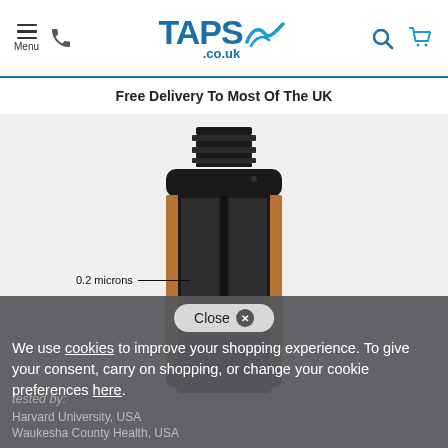Menu | TAPS.co.uk
Free Delivery To Most Of The UK
[Figure (photo): Cross-section view of a tap filter cartridge showing black ceramic filter material with copper/orange outer casing and black threaded top. An annotation reads '0.2 microns' with a line pointing to the filter material.]
Close ✕
We use cookies to improve your shopping experience. To give your consent, carry on shopping, or change your cookie preferences here.
tested by:
Harvard University, USA
Waukesha County Health, USA